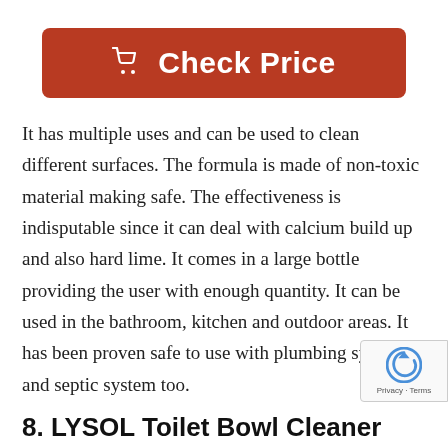[Figure (other): Red 'Check Price' button with shopping cart icon in white]
It has multiple uses and can be used to clean different surfaces. The formula is made of non-toxic material making safe. The effectiveness is indisputable since it can deal with calcium build up and also hard lime. It comes in a large bottle providing the user with enough quantity. It can be used in the bathroom, kitchen and outdoor areas. It has been proven safe to use with plumbing system and septic system too.
8. LYSOL Toilet Bowl Cleaner wi...